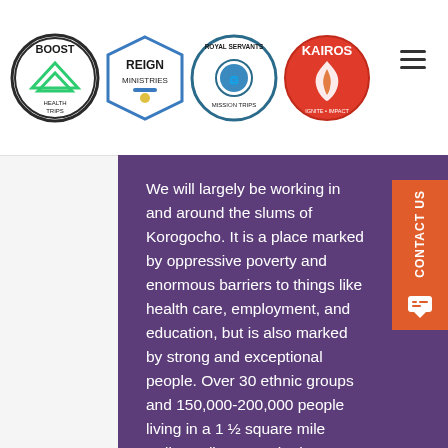BOOST | REIGN MINISTRIES | ROYAL SERVANTS MISSION TRIPS | KAIROS
We will largely be working in and around the slums of Korogocho. It is a place marked by oppressive poverty and enormous barriers to things like health care, employment, and education, but is also marked by strong and exceptional people. Over 30 ethnic groups and 150,000-200,000 people living in a 1 ½ square mile radius call Korogocho home.
Our team will have opportunities to be involved in community outreach, children's ministry, service work, and some door-to-door outreach. You'll also be working in schools to build friendships and challenge students in the areas of relationships, academic excellence, and Christian faith. Many in the West may not see "academic excellence" as a ministry, but in the slums, a good education is important and a very